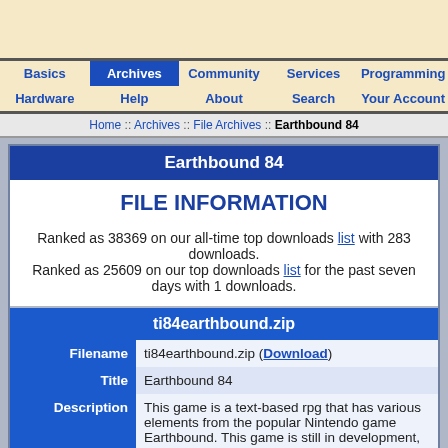Basics | Archives | Community | Services | Programming | Hardware | Help | About | Search | Your Account
Home :: Archives :: File Archives :: Earthbound 84
Earthbound 84
FILE INFORMATION
Ranked as 38369 on our all-time top downloads list with 283 downloads.
Ranked as 25609 on our top downloads list for the past seven days with 1 downloads.
ti84earthbound.zip
| Field | Value |
| --- | --- |
| Filename | ti84earthbound.zip (Download) |
| Title | Earthbound 84 |
| Description | This game is a text-based rpg that has various elements from the popular Nintendo game Earthbound. This game is still in development, and I do plan to add more elements to the game such |